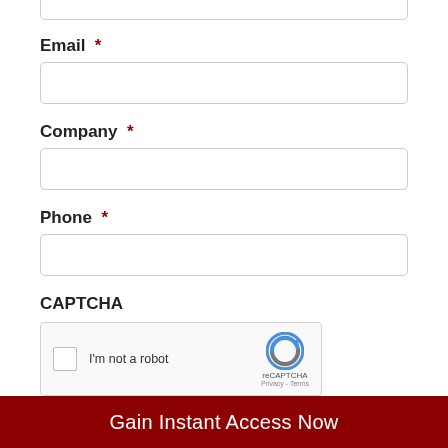Email *
[Figure (other): Empty email input field]
Company *
[Figure (other): Empty company input field]
Phone *
[Figure (other): Empty phone input field]
CAPTCHA
[Figure (other): reCAPTCHA widget with checkbox and I'm not a robot text]
Gain Instant Access Now